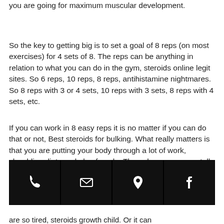you are going for maximum muscular development.
So the key to getting big is to set a goal of 8 reps (on most exercises) for 4 sets of 8. The reps can be anything in relation to what you can do in the gym, steroids online legit sites. So 6 reps, 10 reps, 8 reps, antihistamine nightmares. So 8 reps with 3 or 4 sets, 10 reps with 3 sets, 8 reps with 4 sets, etc.
If you can work in 8 easy reps it is no matter if you can do that or not, Best steroids for bulking. What really matters is that you are putting your body through a lot of work, shredding diet meal plan female. The only way you can tell if that's the right thing for you is to try it out.
[Figure (infographic): Four black icon buttons in a row: phone, email/envelope, location pin, Facebook logo]
are so tired, steroids growth child. Or it can